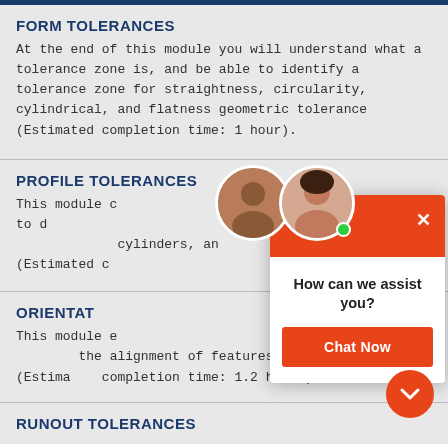FORM TOLERANCES
At the end of this module you will understand what a tolerance zone is, and be able to identify a tolerance zone for straightness, circularity, cylindrical, and flatness geometric tolerance (Estimated completion time: 1 hour).
PROFILE TOLERANCES
This module covers profile tolerances which are used to define a tolerance zone for surfaces controlled by arcs, radii, cylinders, and other geometric shapes (Estimated completion time: ...
[Figure (screenshot): Chat widget overlay with two agent avatars, orange header, 'How can we assist you?' text, and 'Chat Now' button]
ORIENTATION TOLERANCES
This module explains how orientation tolerances control the alignment of features to datum features (Estimated completion time: 1.2 hours).
RUNOUT TOLERANCES